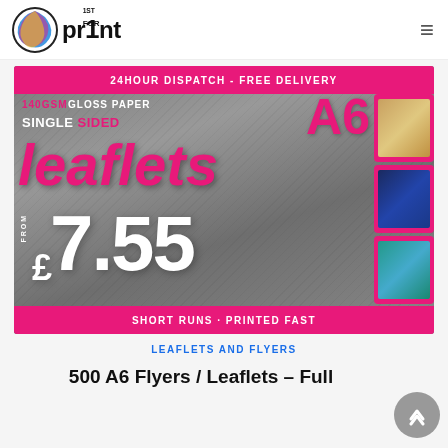1st for Print — navigation logo and menu
[Figure (photo): A6 leaflets product promotional image on grey stone texture background. Top pink bar: '24HOUR DISPATCH - FREE DELIVERY'. Main area shows '140GSM GLOSS PAPER', 'SINGLE SIDED', 'leaflets' in large pink italic text, 'A6' large pink top right, 'FROM £7.55' in large white text, thumbnail images of leaflets on right side. Bottom pink bar: 'SHORT RUNS - PRINTED FAST'.]
LEAFLETS AND FLYERS
500 A6 Flyers / Leaflets – Full